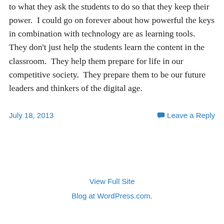to what they ask the students to do so that they keep their power.  I could go on forever about how powerful the keys in combination with technology are as learning tools.  They don't just help the students learn the content in the classroom.  They help them prepare for life in our competitive society.  They prepare them to be our future leaders and thinkers of the digital age.
July 18, 2013
Leave a Reply
View Full Site
Blog at WordPress.com.